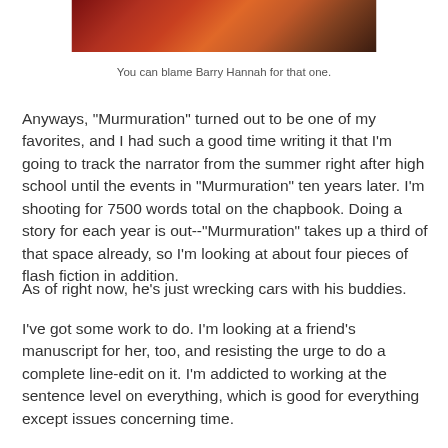[Figure (photo): Partial image visible at top of page showing colorful illustrated book covers or artwork with red, orange, and dark tones]
You can blame Barry Hannah for that one.
Anyways, "Murmuration" turned out to be one of my favorites, and I had such a good time writing it that I'm going to track the narrator from the summer right after high school until the events in "Murmuration" ten years later. I'm shooting for 7500 words total on the chapbook. Doing a story for each year is out--"Murmuration" takes up a third of that space already, so I'm looking at about four pieces of flash fiction in addition.
As of right now, he's just wrecking cars with his buddies.
I've got some work to do. I'm looking at a friend's manuscript for her, too, and resisting the urge to do a complete line-edit on it. I'm addicted to working at the sentence level on everything, which is good for everything except issues concerning time.